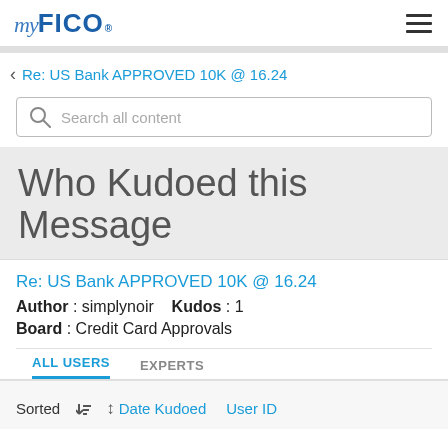myFICO
Re: US Bank APPROVED 10K @ 16.24
Search all content
Who Kudoed this Message
Re: US Bank APPROVED 10K @ 16.24
Author : simplynoir   Kudos : 1
Board : Credit Card Approvals
ALL USERS   EXPERTS
Sorted   Date Kudoed   User ID